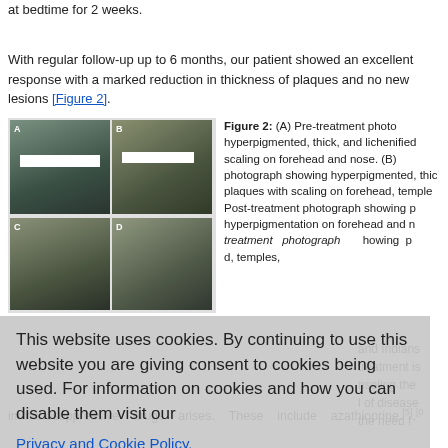at bedtime for 2 weeks.
With regular follow-up up to 6 months, our patient showed an excellent response with a marked reduction in thickness of plaques and no new lesions [Figure 2].
[Figure (photo): Two side-by-side panels showing patient facial photographs before and after treatment, with eyes obscured by white bars. Panel A shows frontal view, Panel B shows side view. Panels C and D below show additional views.]
Figure 2: (A) Pre-treatment photograph showing hyperpigmented, thick, and lichenified scaling on forehead and nose. (B) photograph showing hyperpigmented, thick plaques with scaling on forehead, temples. Post-treatment photograph showing hyperpigmentation on forehead and nose. treatment photograph showing p... d, temples,
This website uses cookies. By continuing to use this website you are giving consent to cookies being used. For information on cookies and how you can disable them visit our
Privacy and Cookie Policy.
AGREE & PROCEED
and Indians cases have been enrolled in the Indian sample. The mainstay of treatment is The occupation... account while counseling the photoprotection... the while control of disease acute flares. As the disease process requires a long-term therapy the need for immunosuppressive drugs arises. These include azathioprine.[5],[0